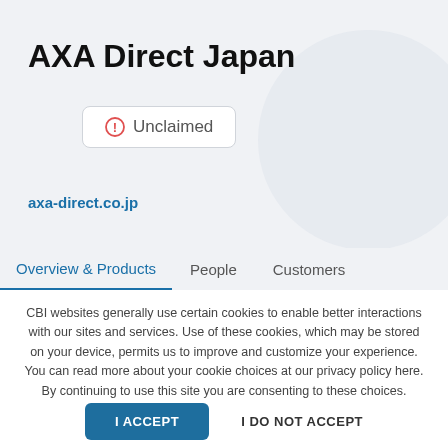AXA Direct Japan
⊙ Unclaimed
axa-direct.co.jp
Overview & Products   People   Customers
CBI websites generally use certain cookies to enable better interactions with our sites and services. Use of these cookies, which may be stored on your device, permits us to improve and customize your experience. You can read more about your cookie choices at our privacy policy here. By continuing to use this site you are consenting to these choices.
I ACCEPT
I DO NOT ACCEPT